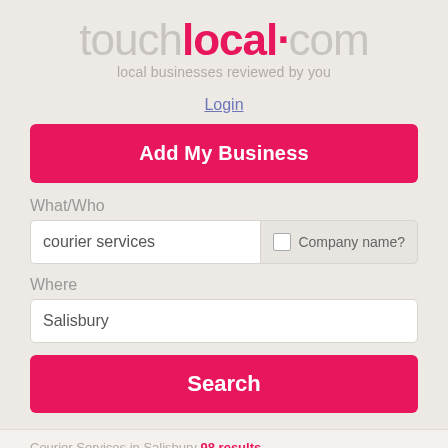[Figure (logo): touchlocal.com logo with tagline 'local businesses reviewed by you']
Login
Add My Business
What/Who
courier services
Company name?
Where
Salisbury
Search
Courier Services in Salisbury 98 results